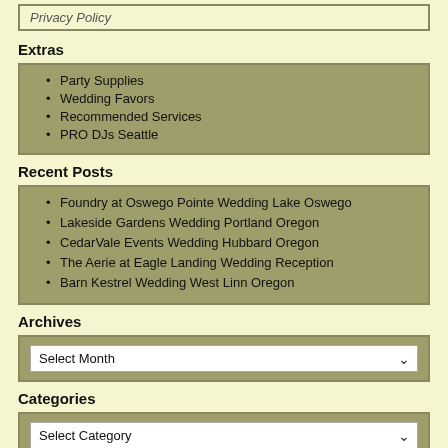Privacy Policy
Extras
Party Supplies
Wedding Favors
Recommended Services
PRO DJs Seattle
Recent Posts
Foundry at Oswego Pointe Wedding Lake Oswego
Lakeside Gardens Wedding Portland Oregon
CedarVale Events Wedding Hubbard Oregon
The Aerie at Eagle Landing Wedding Reception
Barn Kestrel Wedding West Linn Oregon
Archives
Select Month
Categories
Select Category
Search